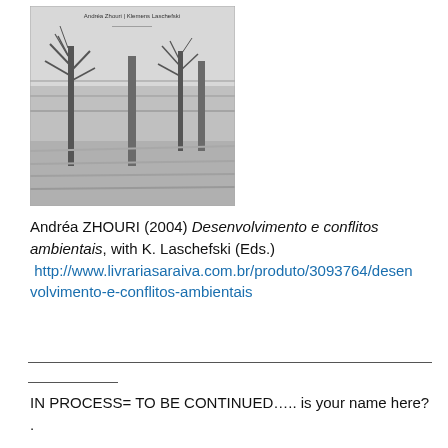[Figure (photo): Black and white photo of a book cover showing bare trees and barbed wire fence in a winter landscape, with small text 'Andréa Zhouri | Klemens Laschefski' at the top]
Andréa ZHOURI (2004) Desenvolvimento e conflitos ambientais, with K. Laschefski (Eds.) http://www.livrariasaraiva.com.br/produto/3093764/desenvolvimento-e-conflitos-ambientais
IN PROCESS= TO BE CONTINUED….. is your name here? .